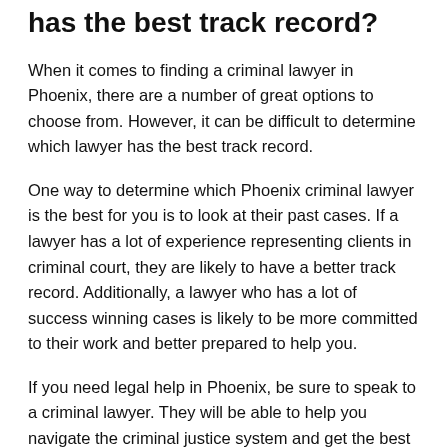has the best track record?
When it comes to finding a criminal lawyer in Phoenix, there are a number of great options to choose from. However, it can be difficult to determine which lawyer has the best track record.
One way to determine which Phoenix criminal lawyer is the best for you is to look at their past cases. If a lawyer has a lot of experience representing clients in criminal court, they are likely to have a better track record. Additionally, a lawyer who has a lot of success winning cases is likely to be more committed to their work and better prepared to help you.
If you need legal help in Phoenix, be sure to speak to a criminal lawyer. They will be able to help you navigate the criminal justice system and get the best possible outcome